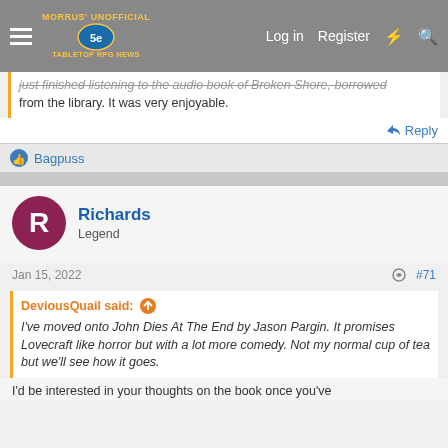Morrus' Unofficial Tabletop RPG News — Log in | Register
just finished listening to the audio book of Broken Shore, borrowed from the library. It was very enjoyable.
Reply
Bagpuss
Richards
Legend
Jan 15, 2022
#71
DeviousQuail said:
I've moved onto John Dies At The End by Jason Pargin. It promises Lovecraft like horror but with a lot more comedy. Not my normal cup of tea but we'll see how it goes.
I'd be interested in your thoughts on the book once you've